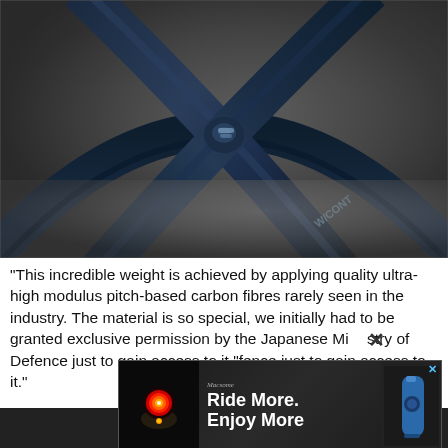[Figure (photo): Close-up photograph of dark blue/black carbon fiber bicycle wheel spokes crossing in an X pattern, with a tire rim visible and partial brand text 'W/CONT...' on the rim. Blurred grey background.]
"This incredible weight is achieved by applying quality ultra-high modulus pitch-based carbon fibres rarely seen in the industry. The material is so special, we initially had to be granted exclusive permission by the Japanese Ministry of Defence just to gain access to it."
[Figure (screenshot): Advertisement banner showing a red bike taillight on the left and a blue bike light on the right. Brand name 'Macsome' at top in italic. Text reads 'Ride More. Enjoy More'. Close button X in top right corner.]